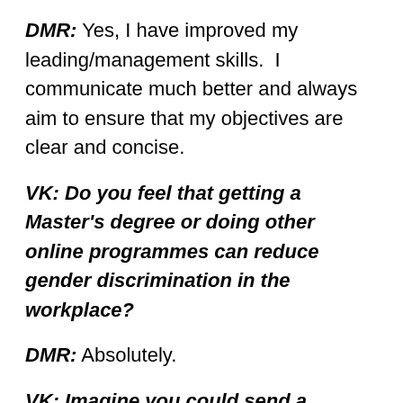DMR: Yes, I have improved my leading/management skills.  I communicate much better and always aim to ensure that my objectives are clear and concise.
VK: Do you feel that getting a Master's degree or doing other online programmes can reduce gender discrimination in the workplace?
DMR: Absolutely.
VK: Imagine you could send a message back in time to your pre-degree self: what